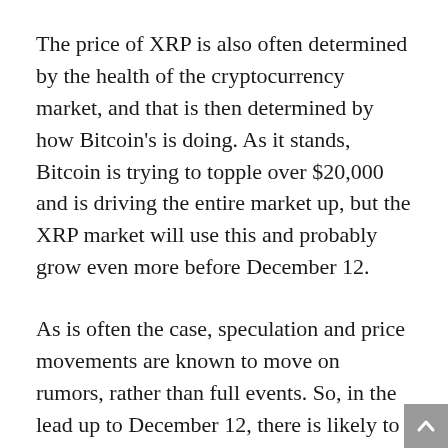The price of XRP is also often determined by the health of the cryptocurrency market, and that is then determined by how Bitcoin's is doing. As it stands, Bitcoin is trying to topple over $20,000 and is driving the entire market up, but the XRP market will use this and probably grow even more before December 12.
As is often the case, speculation and price movements are known to move on rumors, rather than full events. So, in the lead up to December 12, there is likely to be much more XRP price action as more and more people try to buy up XRP in order to receive more Spark.
XRP has its own price barriers and resistance and the major one is the $1 mark. If XRP is